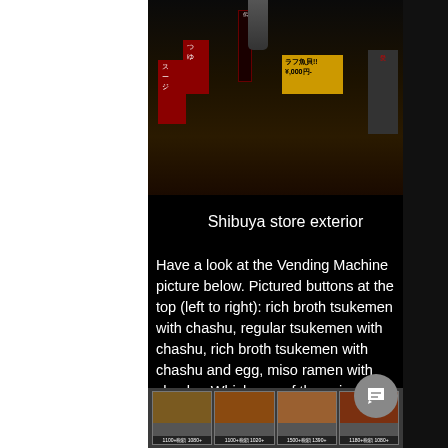[Figure (photo): Shibuya store exterior at night — dark storefront with Japanese signage, red and yellow signs with kanji and pricing, dimly lit]
Shibuya store exterior
Have a look at the Vending Machine picture below. Pictured buttons at the top (left to right): rich broth tsukemen with chashu, regular tsukemen with chashu, rich broth tsukemen with chashu and egg, miso ramen with chashu. Which one of these is not like the other?
[Figure (photo): Vending machine ordering panel showing food menu cards with photos of tsukemen and ramen dishes, prices visible below each card, a downward arrow at the top]